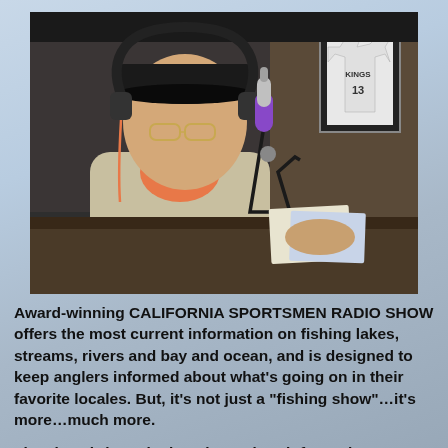[Figure (photo): A man wearing a black cap and headphones sitting at a radio broadcast desk with a microphone in front of him. A framed sports jersey (number 13) hangs on the wall in the background. The setting is a professional radio studio.]
Award-winning CALIFORNIA SPORTSMEN RADIO SHOW offers the most current information on fishing lakes, streams, rivers and bay and ocean, and is designed to keep anglers informed about what’s going on in their favorite locales.  But, it’s not just a “fishing show”…it’s more…much more.
The show brings the best in outdoor information,